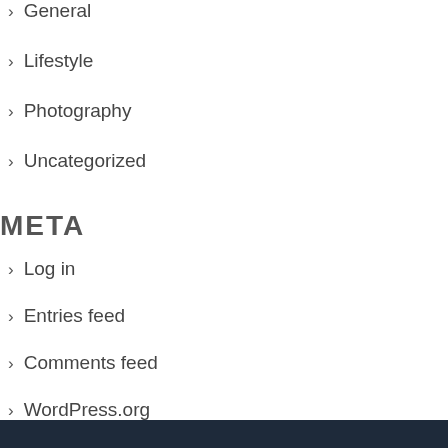General
Lifestyle
Photography
Uncategorized
META
Log in
Entries feed
Comments feed
WordPress.org